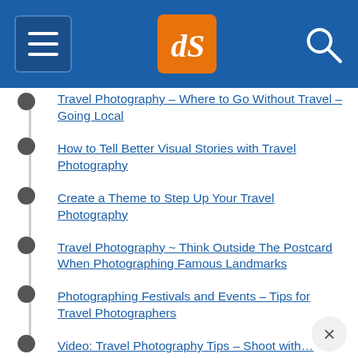dPS navigation header
Travel Photography – Where to Go Without Travel: Going Local
How to Tell Better Visual Stories with Travel Photography
Create a Theme to Step Up Your Travel Photography
Travel Photography ~ Think Outside The Postcard When Photographing Famous Landmarks
Photographing Festivals and Events – Tips for Travel Photographers
Video: Travel Photography Tips – Shoot with…